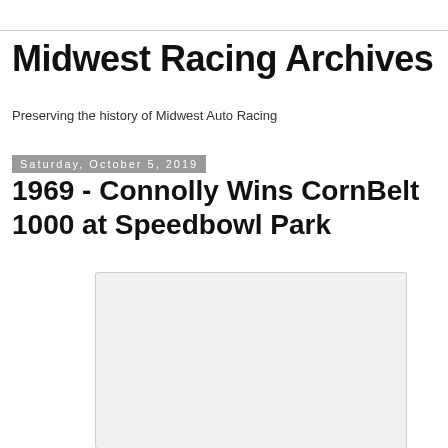Midwest Racing Archives
Preserving the history of Midwest Auto Racing
Saturday, October 5, 2019
1969 - Connolly Wins CornBelt 1000 at Speedbowl Park
[Figure (photo): A light gray placeholder image rectangle]